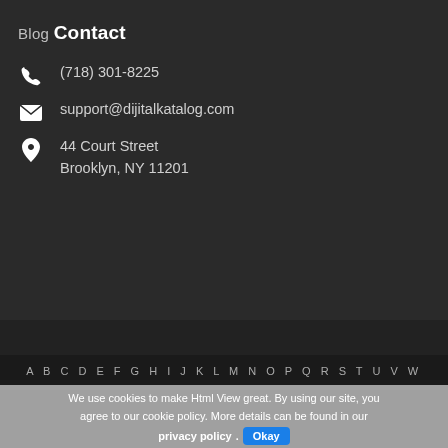Blog
Contact
(718) 301-8225
support@dijitalkatalog.com
44 Court Street
Brooklyn, NY 11201
A B C D E F G H I J K L M N O P Q R S T U V W
We use cookies to make Html View great. By using our site, you agree to our cookie policy. More details can be found in our privacy policy. Okay